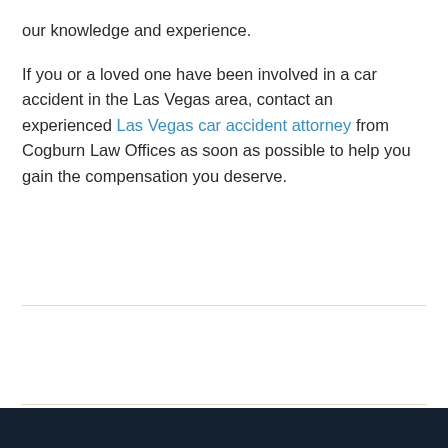our knowledge and experience.
If you or a loved one have been involved in a car accident in the Las Vegas area, contact an experienced Las Vegas car accident attorney from Cogburn Law Offices as soon as possible to help you gain the compensation you deserve.